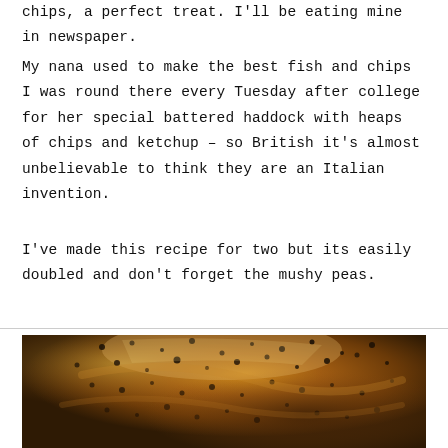chips, a perfect treat. I'll be eating mine in newspaper.
My nana used to make the best fish and chips I was round there every Tuesday after college for her special battered haddock with heaps of chips and ketchup – so British it's almost unbelievable to think they are an Italian invention.
I've made this recipe for two but its easily doubled and don't forget the mushy peas.
[Figure (photo): Close-up photograph of battered fish (haddock) with dark speckled seasoning on top, golden-brown crispy batter, warm amber and brown tones.]